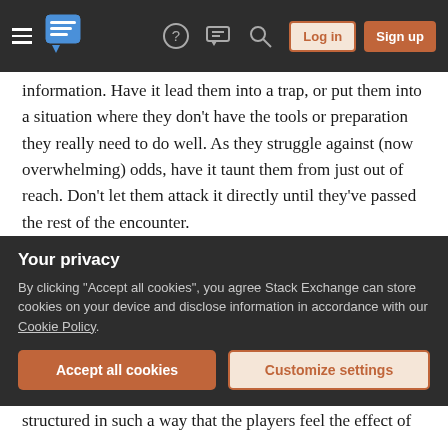Stack Exchange navigation bar with hamburger menu, logo, help, chat, search icons, Log in and Sign up buttons
information. Have it lead them into a trap, or put them into a situation where they don't have the tools or preparation they really need to do well. As they struggle against (now overwhelming) odds, have it taunt them from just out of reach. Don't let them attack it directly until they've passed the rest of the encounter.
There are two pitfalls with this method:
The first is that you need to be very careful not to tip your hand too early. If the players see it coming, it will lose a lot of their impact. For this reason, I'd recommend against it
Your privacy
By clicking "Accept all cookies", you agree Stack Exchange can store cookies on your device and disclose information in accordance with our Cookie Policy.
structured in such a way that the players feel the effect of